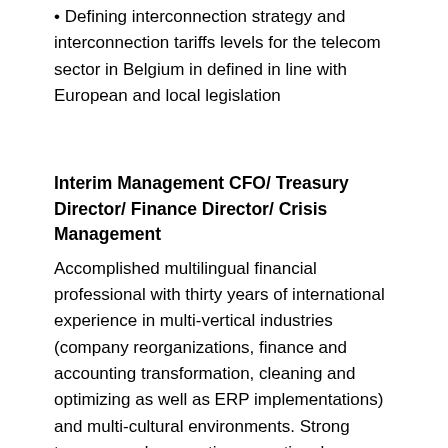• Defining interconnection strategy and interconnection tariffs levels for the telecom sector in Belgium in defined in line with European and local legislation
Interim Management CFO/ Treasury Director/ Finance Director/ Crisis Management
Accomplished multilingual financial professional with thirty years of international experience in multi-vertical industries (company reorganizations, finance and accounting transformation, cleaning and optimizing as well as ERP implementations) and multi-cultural environments. Strong treasury and accounting operational experience; additional skill sets include budgeting and forecasting at the corporate and subsidiary levels, design and implementation of internal and external reporting